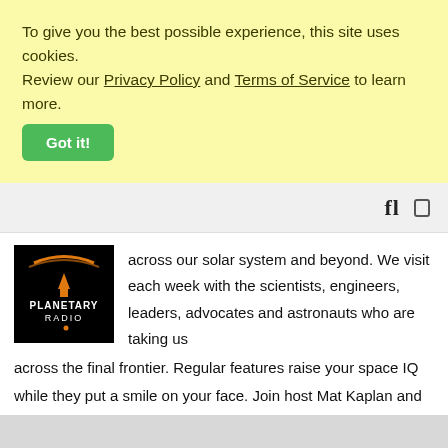To give you the best possible experience, this site uses cookies. Review our Privacy Policy and Terms of Service to learn more.
Got it!
[Figure (logo): Planetary Radio podcast logo — black background with orange crescent and white text 'PLANETARY RADIO']
across our solar system and beyond. We visit each week with the scientists, engineers, leaders, advocates and astronauts who are taking us across the final frontier. Regular features raise your space IQ while they put a smile on your face. Join host Mat Kaplan and Planetary Society colleagues including Bill Nye the Science Guy, Bruce Betts, and Emily Lakdawalla as they dive deep into the late...